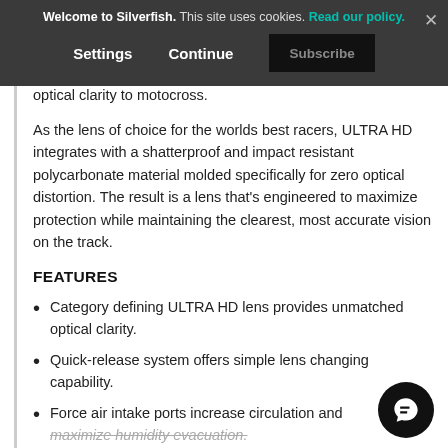Hear more from us and SAVE 10% OFF your next order!
engineered category defining technology bringing unmatched optical clarity to motocross.
As the lens of choice for the worlds best racers, ULTRA HD integrates with a shatterproof and impact resistant polycarbonate material molded specifically for zero optical distortion. The result is a lens that's engineered to maximize protection while maintaining the clearest, most accurate vision on the track.
FEATURES
Category defining ULTRA HD lens provides unmatched optical clarity.
Quick-release system offers simple lens changing capability.
Force air intake ports increase circulation and maximize humidity evacuation.